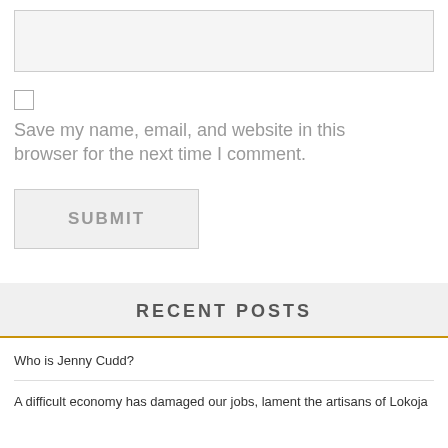[Figure (other): Empty text input box / textarea with light gray background and border]
Save my name, email, and website in this browser for the next time I comment.
SUBMIT
RECENT POSTS
Who is Jenny Cudd?
A difficult economy has damaged our jobs, lament the artisans of Lokoja